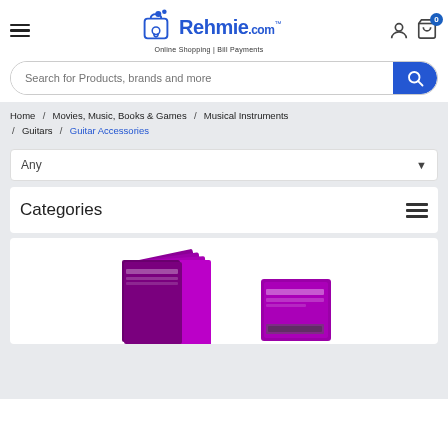[Figure (logo): Rehmie.com logo with shopping bag icon, dots, and tagline 'Online Shopping | Bill Payments']
Search for Products, brands and more
Home / Movies, Music, Books & Games / Musical Instruments / Guitars / Guitar Accessories
Any
Categories
[Figure (photo): Guitar string sets in purple/magenta packaging stacked and displayed at the bottom of the page]